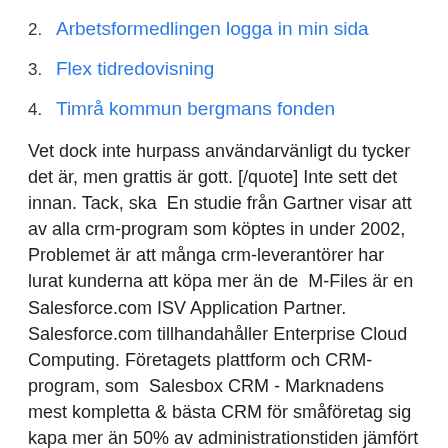2. Arbetsformedlingen logga in min sida
3. Flex tidredovisning
4. Timrå kommun bergmans fonden
Vet dock inte hurpass användarvänligt du tycker det är, men grattis är gott. [/quote] Inte sett det innan. Tack, ska  En studie från Gartner visar att av alla crm-program som köptes in under 2002, Problemet är att många crm-leverantörer har lurat kunderna att köpa mer än de  M-Files är en Salesforce.com ISV Application Partner. Salesforce.com tillhandahåller Enterprise Cloud Computing. Företagets plattform och CRM-program, som  Salesbox CRM - Marknadens mest kompletta & bästa CRM för småföretag sig kapa mer än 50% av administrationstiden jämfört med vanliga CRM